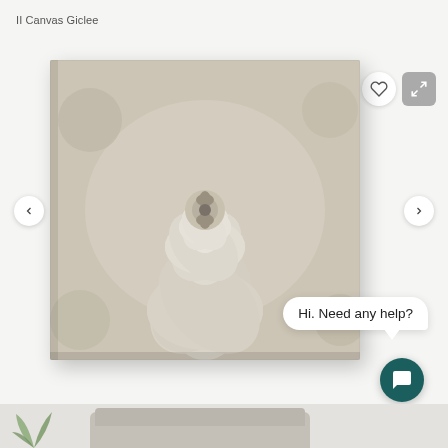II Canvas Giclee
[Figure (photo): Close-up photo of a succulent plant in sepia/monochrome tones, displayed as a canvas print hanging on a light wall. The succulent fills the frame with layered petals radiating from the center.]
Hi. Need any help?